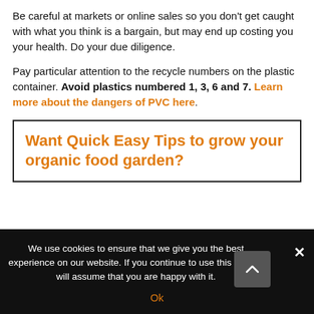Be careful at markets or online sales so you don't get caught with what you think is a bargain, but may end up costing you your health. Do your due diligence.
Pay particular attention to the recycle numbers on the plastic container. Avoid plastics numbered 1, 3, 6 and 7. Learn more about the dangers of PVC here.
Want Quick Easy Tips to grow your organic food garden?
We use cookies to ensure that we give you the best experience on our website. If you continue to use this site we will assume that you are happy with it.
Ok